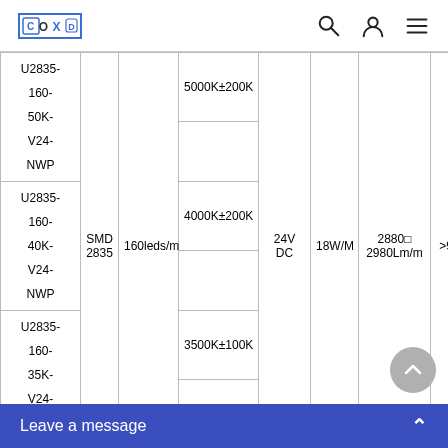COXO logo with search, user, and menu icons
| Model | Type | LED Density | CCT | Voltage | Power | Luminous Flux | CRI | Cut Length |
| --- | --- | --- | --- | --- | --- | --- | --- | --- |
| U2835-160-50K-V24-NWP |  |  | 5000K±200K |  |  |  |  |  |
| U2835-160-40K-V24-NWP | SMD 2835 | 160leds/m | 4000K±200K | 24V DC | 18W/M | 2880□ 2980Lm/m | >90 | 8 LEDs 50mm |
| U2835-160-35K-V24-NWP |  |  | 3500K±100K |  |  |  |  |  |
| U2835- |  |  |  |  |  |  |  |  |